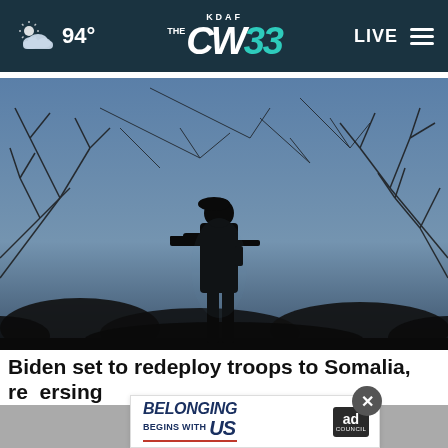KDAF CW 33 — 94° — LIVE
[Figure (photo): Silhouette of a soldier carrying a rifle standing among bare tree branches against a blue-grey twilight sky]
Biden set to redeploy troops to Somalia, reversing Trump withdrawal
[Figure (infographic): Ad banner: BELONGING BEGINS WITH US — Ad Council]